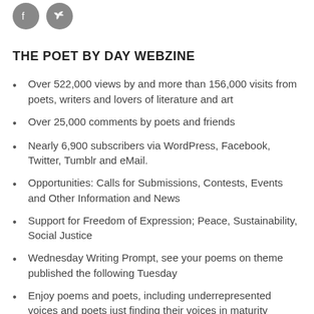[Figure (other): Two circular social media icon buttons (Facebook and Twitter) in gray]
THE POET BY DAY WEBZINE
Over 522,000 views by and more than 156,000 visits from poets, writers and lovers of literature and art
Over 25,000 comments by poets and friends
Nearly 6,900 subscribers via WordPress, Facebook, Twitter, Tumblr and eMail.
Opportunities: Calls for Submissions, Contests, Events and Other Information and News
Support for Freedom of Expression; Peace, Sustainability, Social Justice
Wednesday Writing Prompt, see your poems on theme published the following Tuesday
Enjoy poems and poets, including underrepresented voices and poets just finding their voices in maturity